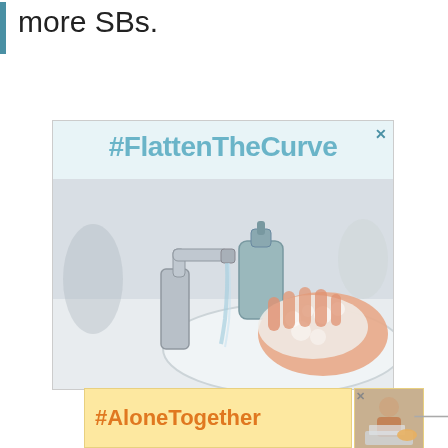more SBs.
[Figure (screenshot): Advertisement banner with hashtag #FlattenTheCurve showing a person washing hands with soap at a bathroom sink, with a blue soap dispenser visible. Close button (X) in top right corner.]
[Figure (screenshot): Advertisement banner with hashtag #AloneTogether on yellow/orange background, with a photo of a woman at a laptop on the right side. Close button (X) and logo visible.]